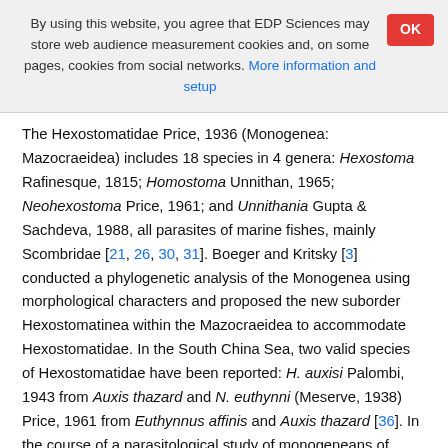By using this website, you agree that EDP Sciences may store web audience measurement cookies and, on some pages, cookies from social networks. More information and setup
The Hexostomatidae Price, 1936 (Monogenea: Mazocraeidea) includes 18 species in 4 genera: Hexostoma Rafinesque, 1815; Homostoma Unnithan, 1965; Neohexostoma Price, 1961; and Unnithania Gupta & Sachdeva, 1988, all parasites of marine fishes, mainly Scombridae [21, 26, 30, 31]. Boeger and Kritsky [3] conducted a phylogenetic analysis of the Monogenea using morphological characters and proposed the new suborder Hexostomatinea within the Mazocraeidea to accommodate Hexostomatidae. In the South China Sea, two valid species of Hexostomatidae have been reported: H. auxisi Palombi, 1943 from Auxis thazard and N. euthynni (Meserve, 1938) Price, 1961 from Euthynnus affinis and Auxis thazard [36]. In the course of a parasitological study of monogeneans of marine fishes off the South China Sea, we collected